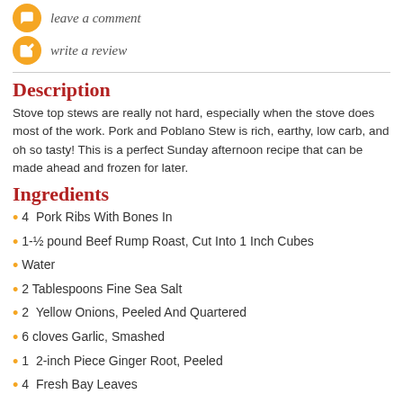leave a comment
write a review
Description
Stove top stews are really not hard, especially when the stove does most of the work. Pork and Poblano Stew is rich, earthy, low carb, and oh so tasty! This is a perfect Sunday afternoon recipe that can be made ahead and frozen for later.
Ingredients
4  Pork Ribs With Bones In
1-½ pound Beef Rump Roast, Cut Into 1 Inch Cubes
Water
2 Tablespoons Fine Sea Salt
2  Yellow Onions, Peeled And Quartered
6 cloves Garlic, Smashed
1  2-inch Piece Ginger Root, Peeled
4  Fresh Bay Leaves
4 sprigs Fresh Oregano